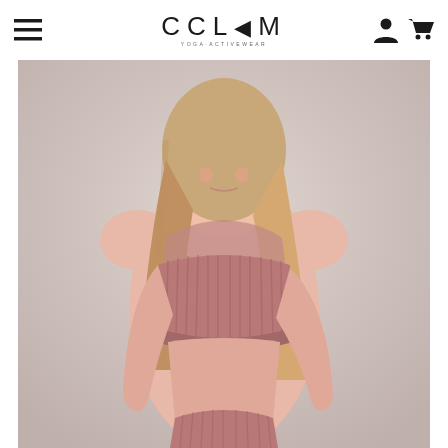CCLAM YOLOGA·ACTIVEWEAR
[Figure (photo): Young female model wearing a dusty rose/mauve ribbed velvet halter-neck sports bra top with mesh panel at neckline, and matching bottoms. Light grey background. Fashion activewear product photography.]